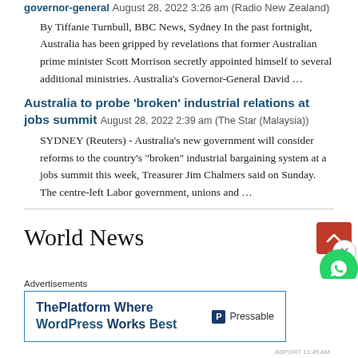governor-general August 28, 2022 3:26 am (Radio New Zealand)
By Tiffanie Turnbull, BBC News, Sydney In the past fortnight, Australia has been gripped by revelations that former Australian prime minister Scott Morrison secretly appointed himself to several additional ministries. Australia's Governor-General David …
Australia to probe 'broken' industrial relations at jobs summit August 28, 2022 2:39 am (The Star (Malaysia))
SYDNEY (Reuters) - Australia's new government will consider reforms to the country's "broken" industrial bargaining system at a jobs summit this week, Treasurer Jim Chalmers said on Sunday. The centre-left Labor government, unions and …
World News
Advertisements
ThePlatform Where WordPress Works Best  Pressable